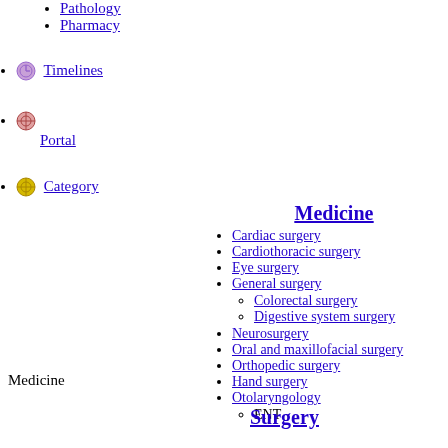Pathology
Pharmacy
Timelines
Portal
Category
Medicine
Medicine
Cardiac surgery
Cardiothoracic surgery
Eye surgery
General surgery
Colorectal surgery
Digestive system surgery
Neurosurgery
Oral and maxillofacial surgery
Orthopedic surgery
Hand surgery
Otolaryngology
ENT
Surgery